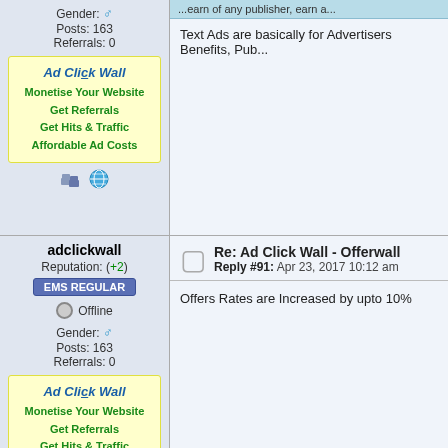Gender: ♂
Posts: 163
Referrals: 0
[Figure (infographic): Ad Click Wall advertisement box with yellow background showing: Ad Click Wall (title), Monetise Your Website, Get Referrals, Get Hits & Traffic, Affordable Ad Costs]
[Figure (illustration): Small icons: group/users icon and globe icon]
...earn of any publisher, earn a...
Text Ads are basically for Advertisers Benefits, Pub...
adclickwall
Reputation: (+2)
EMS REGULAR
Offline
Gender: ♂
Posts: 163
Referrals: 0
[Figure (infographic): Ad Click Wall advertisement box with yellow background showing: Ad Click Wall (title), Monetise Your Website, Get Referrals, Get Hits & Traffic, Affordable Ad Costs]
Re: Ad Click Wall - Offerwall
Reply #91: Apr 23, 2017 10:12 am
Offers Rates are Increased by upto 10%